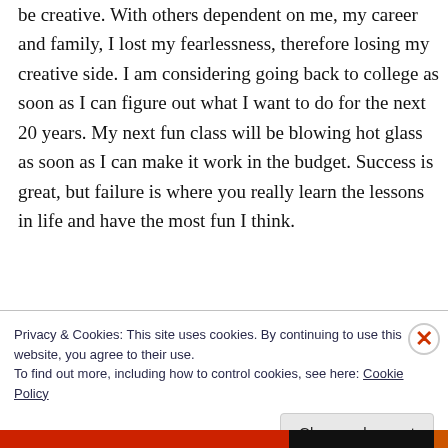be creative. With others dependent on me, my career and family, I lost my fearlessness, therefore losing my creative side. I am considering going back to college as soon as I can figure out what I want to do for the next 20 years. My next fun class will be blowing hot glass as soon as I can make it work in the budget. Success is great, but failure is where you really learn the lessons in life and have the most fun I think.
Privacy & Cookies: This site uses cookies. By continuing to use this website, you agree to their use. To find out more, including how to control cookies, see here: Cookie Policy
Close and accept